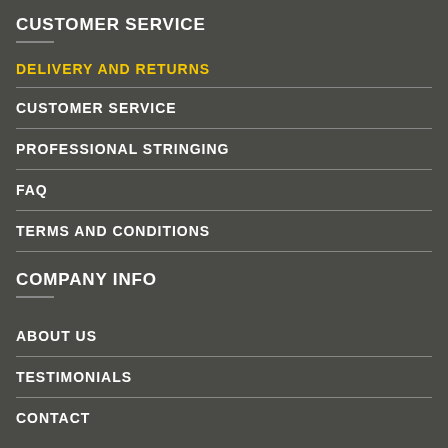CUSTOMER SERVICE
DELIVERY AND RETURNS
CUSTOMER SERVICE
PROFESSIONAL STRINGING
FAQ
TERMS AND CONDITIONS
COMPANY INFO
ABOUT US
TESTIMONIALS
CONTACT